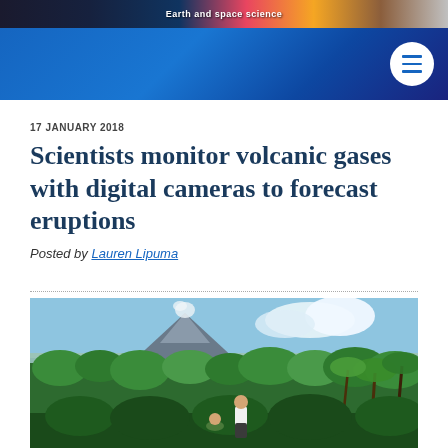Earth and space science
[Navigation bar with menu button]
17 JANUARY 2018
Scientists monitor volcanic gases with digital cameras to forecast eruptions
Posted by Lauren Lipuma
[Figure (photo): Two people standing on a hillside overlooking a lush tropical landscape with palm trees and jungle, with a large volcano (Mayon) visible in the background emitting a small plume of white smoke/gas, under a partly cloudy blue sky.]